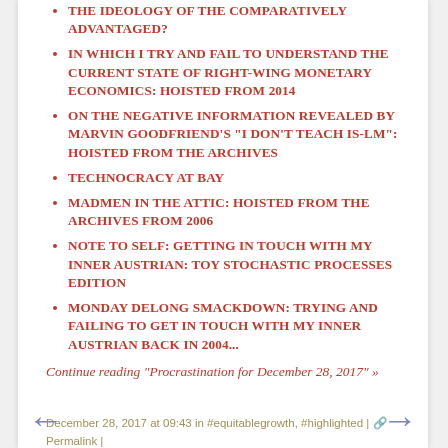THE IDEOLOGY OF THE COMPARATIVELY ADVANTAGED?
IN WHICH I TRY AND FAIL TO UNDERSTAND THE CURRENT STATE OF RIGHT-WING MONETARY ECONOMICS: HOISTED FROM 2014
ON THE NEGATIVE INFORMATION REVEALED BY MARVIN GOODFRIEND'S "I DON'T TEACH IS-LM": HOISTED FROM THE ARCHIVES
TECHNOCRACY AT BAY
MADMEN IN THE ATTIC: HOISTED FROM THE ARCHIVES FROM 2006
NOTE TO SELF: GETTING IN TOUCH WITH MY INNER AUSTRIAN: TOY STOCHASTIC PROCESSES EDITION
MONDAY DELONG SMACKDOWN: TRYING AND FAILING TO GET IN TOUCH WITH MY INNER AUSTRIAN BACK IN 2004...
Continue reading "Procrastination for December 28, 2017" »
December 28, 2017 at 09:43 in #equitablegrowth, #highlighted | Permalink | Comments (0)